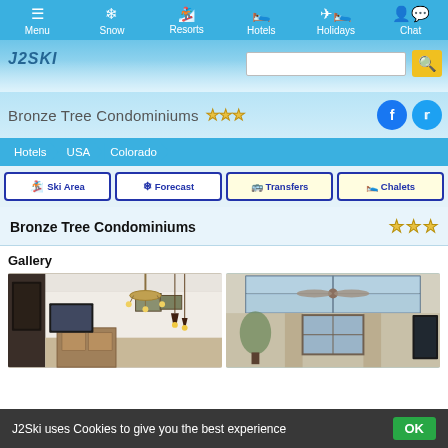Menu | Snow | Resorts | Hotels | Holidays | Chat
[Figure (screenshot): J2Ski website header banner with logo and search bar, ski mountain background]
Bronze Tree Condominiums ★★★
Hotels > USA > Colorado
Ski Area | Forecast | Transfers | Chalets
Bronze Tree Condominiums ★★★
Gallery
[Figure (photo): Two interior photos of Bronze Tree Condominiums rooms — left shows living area with chandelier, right shows skylight ceiling with fan]
J2Ski uses Cookies to give you the best experience